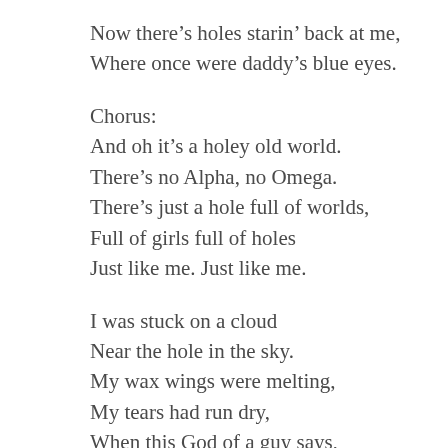Now there's holes starin' back at me,
Where once were daddy's blue eyes.
Chorus:
And oh it's a holey old world.
There's no Alpha, no Omega.
There's just a hole full of worlds,
Full of girls full of holes
Just like me. Just like me.
I was stuck on a cloud
Near the hole in the sky.
My wax wings were melting,
My tears had run dry,
When this God of a guy says,
"You know there's just nothing like dyin."